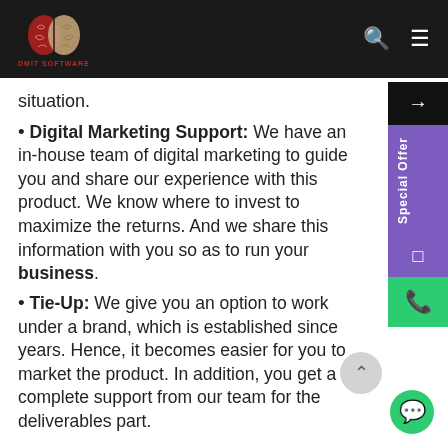DMIT SOFTWARE
situation.
Digital Marketing Support: We have an in-house team of digital marketing to guide you and share our experience with this product. We know where to invest to maximize the returns. And we share this information with you so as to run your business.
Tie-Up: We give you an option to work under a brand, which is established since years. Hence, it becomes easier for you to market the product. In addition, you get a complete support from our team for the deliverables part.